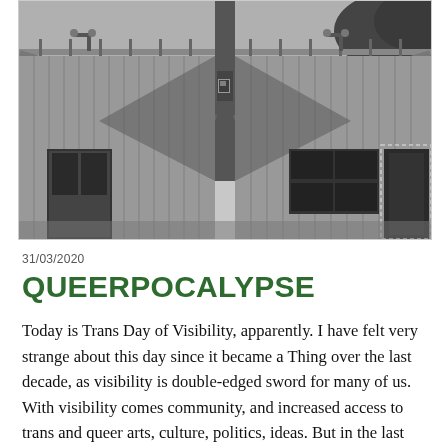[Figure (photo): Black and white halftone photograph of a building exterior with corrugated or ridged walls, arched roof sections, a central vertical pillar/chimney, streetlamps, and what appears to be windows or doors on the right side. Trees are visible in the upper right corner.]
31/03/2020
QUEERPOCALYPSE
Today is Trans Day of Visibility, apparently. I have felt very strange about this day since it became a Thing over the last decade, as visibility is double-edged sword for many of us. With visibility comes community, and increased access to trans and queer arts, culture, politics, ideas. But in the last few years this